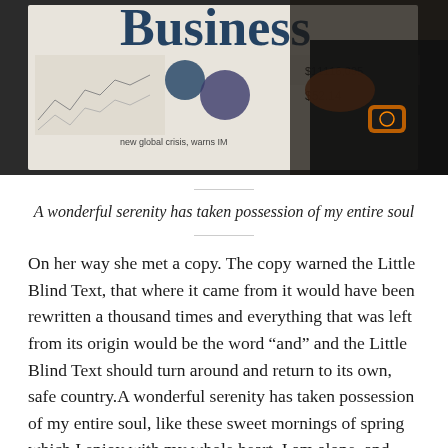[Figure (photo): A person in a dark suit holding or reading a business newspaper. The newspaper headline shows 'Business' in large text, with financial figures including '$11116,095' and '$52.14' visible, along with a graph and the text 'new global crisis, warns IM'. The person is wearing an orange and black smartwatch.]
A wonderful serenity has taken possession of my entire soul
On her way she met a copy. The copy warned the Little Blind Text, that where it came from it would have been rewritten a thousand times and everything that was left from its origin would be the word “and” and the Little Blind Text should turn around and return to its own, safe country.A wonderful serenity has taken possession of my entire soul, like these sweet mornings of spring which I enjoy with my whole heart. I am alone, and feel the charm of existence in this spot